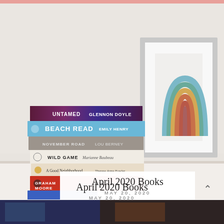[Figure (photo): Stack of books on a white shelf next to a framed rainbow print art. Books visible: Untamed by Glennon Doyle, Beach Read by Emily Henry, November Road by Lou Berney, Wild Game by Marianne Baubeau, A Good Neighborhood by Therese Anne Fowler, The Holdout by Graham Moore.]
April 2020 Books
MAY 20, 2020